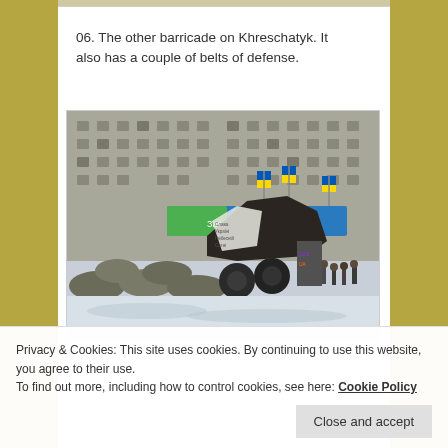06. The other barricade on Khreschatyk. It also has a couple of belts of defense.
[Figure (photo): Street barricade scene on Khreschatyk, showing makeshift barricades with sandbags, tires, wooden structures and Ukrainian flags. Snowy ground, large building in background.]
Privacy & Cookies: This site uses cookies. By continuing to use this website, you agree to their use.
To find out more, including how to control cookies, see here: Cookie Policy
Close and accept